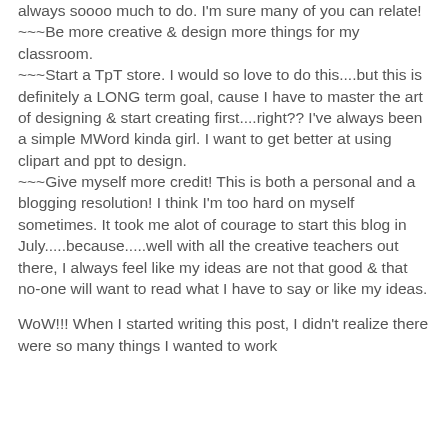always soooo much to do. I'm sure many of you can relate!
~~~Be more creative & design more things for my classroom.
~~~Start a TpT store. I would so love to do this....but this is definitely a LONG term goal, cause I have to master the art of designing & start creating first....right?? I've always been a simple MWord kinda girl. I want to get better at using clipart and ppt to design.
~~~Give myself more credit! This is both a personal and a blogging resolution! I think I'm too hard on myself sometimes. It took me alot of courage to start this blog in July.....because.....well with all the creative teachers out there, I always feel like my ideas are not that good & that no-one will want to read what I have to say or like my ideas.
WoW!!! When I started writing this post, I didn't realize there were so many things I wanted to work